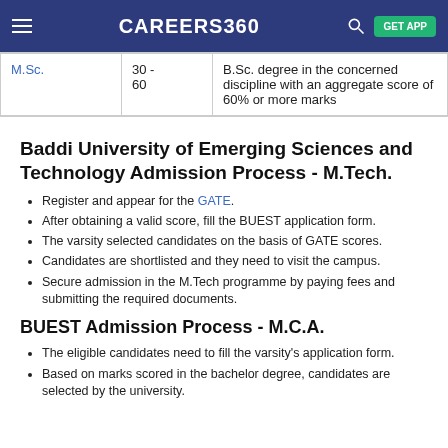CAREERS360 GET APP
| Program | Seats | Eligibility |
| --- | --- | --- |
| M.Sc. | 30 - 60 | B.Sc. degree in the concerned discipline with an aggregate score of 60% or more marks |
Baddi University of Emerging Sciences and Technology Admission Process - M.Tech.
Register and appear for the GATE.
After obtaining a valid score, fill the BUEST application form.
The varsity selected candidates on the basis of GATE scores.
Candidates are shortlisted and they need to visit the campus.
Secure admission in the M.Tech programme by paying fees and submitting the required documents.
BUEST Admission Process - M.C.A.
The eligible candidates need to fill the varsity's application form.
Based on marks scored in the bachelor degree, candidates are selected by the university.